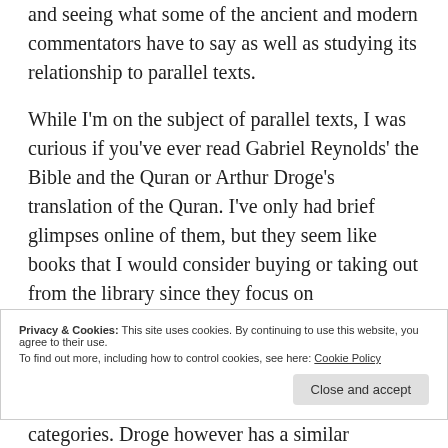and seeing what some of the ancient and modern commentators have to say as well as studying its relationship to parallel texts.
While I'm on the subject of parallel texts, I was curious if you've ever read Gabriel Reynolds' the Bible and the Quran or Arthur Droge's translation of the Quran. I've only had brief glimpses online of them, but they seem like books that I would consider buying or taking out from the library since they focus on
Privacy & Cookies: This site uses cookies. By continuing to use this website, you agree to their use.
To find out more, including how to control cookies, see here: Cookie Policy
categories. Droge however has a similar